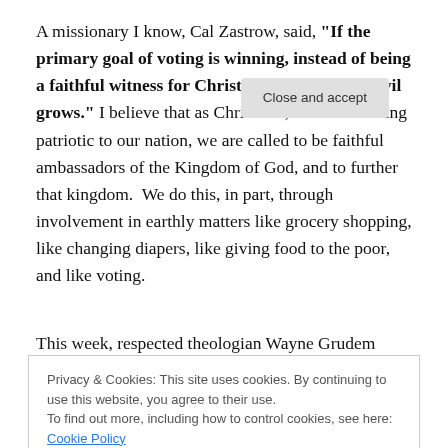A missionary I know, Cal Zastrow, said, "If the primary goal of voting is winning, instead of being a faithful witness for Christ, then all kinds of evil grows." I believe that as Christians, more than being patriotic to our nation, we are called to be faithful ambassadors of the Kingdom of God, and to further that kingdom.  We do this, in part, through involvement in earthly matters like grocery shopping, like changing diapers, like giving food to the poor, and like voting.
This week, respected theologian Wayne Grudem
Privacy & Cookies: This site uses cookies. By continuing to use this website, you agree to their use.
To find out more, including how to control cookies, see here: Cookie Policy
Close and accept
evangelical Christian.  I was overwhelmed by how many